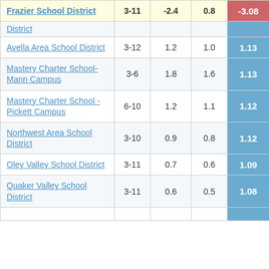| School/District | Grades | Col3 | Col4 | Score |
| --- | --- | --- | --- | --- |
| Frazier School District | 3-11 | -2.4 | 0.8 | -3.08 |
| [truncated] District |  |  |  |  |
| Avella Area School District | 3-12 | 1.2 | 1.0 | 1.13 |
| Mastery Charter School-Mann Campus | 3-6 | 1.8 | 1.6 | 1.13 |
| Mastery Charter School - Pickett Campus | 6-10 | 1.2 | 1.1 | 1.12 |
| Northwest Area School District | 3-10 | 0.9 | 0.8 | 1.12 |
| Oley Valley School District | 3-11 | 0.7 | 0.6 | 1.09 |
| Quaker Valley School District | 3-11 | 0.6 | 0.5 | 1.08 |